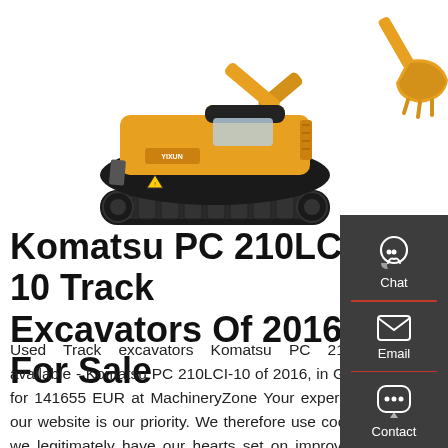[Figure (photo): Yellow Komatsu mini track excavator with black undercarriage, photographed on white background. A separate excavator bucket attachment is visible in the upper right corner.]
Komatsu PC 210LCI-10 Track Excavators Of 2016 For Sale
Used Track excavators Komatsu PC 210LCI-10 available - Komatsu PC 210LCI-10 of 2016, in Germany, for 141655 EUR at MachineryZone Your experience on our website is our priority. We therefore use cookies, as we legitimately have our hearts set on improving user experience, producing statistics and offering ad inserts based on your areas of
[Figure (infographic): Dark gray sidebar widget on the right side with three contact options: Chat (headset icon), Email (envelope icon), and Contact (speech bubble icon), separated by red horizontal lines.]